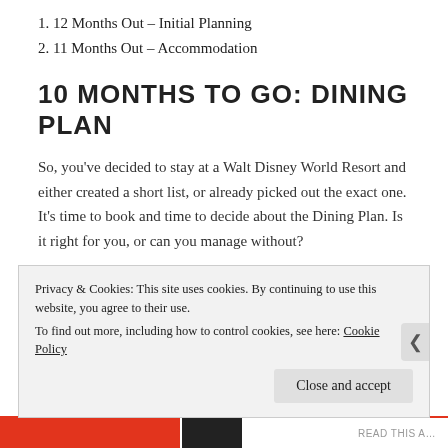1. 12 Months Out – Initial Planning
2. 11 Months Out – Accommodation
10 MONTHS TO GO: DINING PLAN
So, you've decided to stay at a Walt Disney World Resort and either created a short list, or already picked out the exact one. It's time to book and time to decide about the Dining Plan. Is it right for you, or can you manage without?
For me, personally, this is the number one perk of staying at a Disney property. The Extra Magic Hours and complimentary transportation are nice, but nothing adds more value to a vacation than the Dining Plan.
Privacy & Cookies: This site uses cookies. By continuing to use this website, you agree to their use.
To find out more, including how to control cookies, see here: Cookie Policy